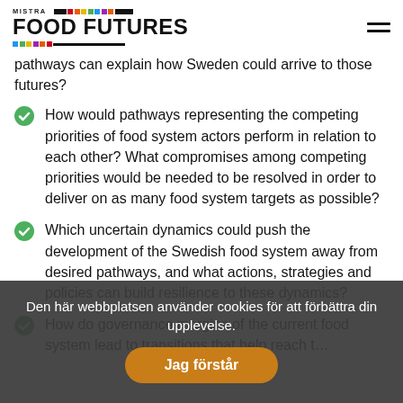MISTRA FOOD FUTURES
pathways can explain how Sweden could arrive to those futures?
How would pathways representing the competing priorities of food system actors perform in relation to each other? What compromises among competing priorities would be needed to be resolved in order to deliver on as many food system targets as possible?
Which uncertain dynamics could push the development of the Swedish food system away from desired pathways, and what actions, strategies and policies can build resilience to these dynamics?
How do governance margins of the current food system lead to transitions that help reach t…
Den här webbplatsen använder cookies för att förbättra din upplevelse.
Jag förstår